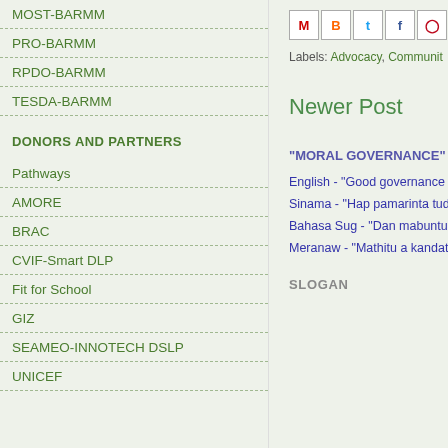MOST-BARMM
PRO-BARMM
RPDO-BARMM
TESDA-BARMM
DONORS AND PARTNERS
Pathways
AMORE
BRAC
CVIF-Smart DLP
Fit for School
GIZ
SEAMEO-INNOTECH DSLP
UNICEF
[Figure (screenshot): Social sharing icon buttons: M (Gmail), B (Blogger), t (Twitter), f (Facebook), P (Pinterest)]
Labels: Advocacy, Communit
Newer Post
"MORAL GOVERNANCE"
English - "Good governance
Sinama - "Hap pamarinta tud
Bahasa Sug - "Dan mabuntu
Meranaw - "Mathitu a kandat
SLOGAN